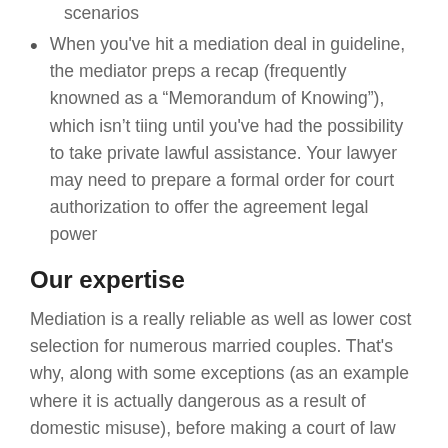scenarios
When you've hit a mediation deal in guideline, the mediator preps a recap (frequently knowned as a “Memorandum of Knowing”), which isn’t tiing until you've had the possibility to take private lawful assistance. Your lawyer may need to prepare a formal order for court authorization to offer the agreement legal power
Our expertise
Mediation is a really reliable as well as lower cost selection for numerous married couples. That's why, along with some exceptions (as an example where it is actually dangerous as a result of domestic misuse), before making a court of law use, you commonly need to go to a Mediation Relevant information as well as